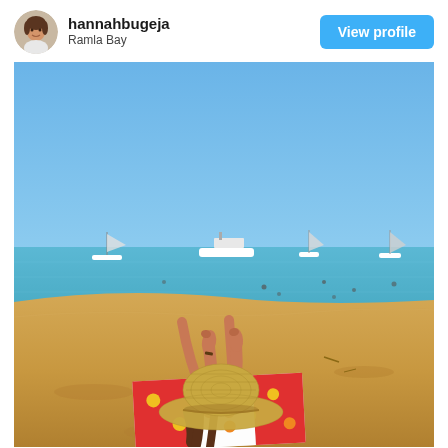[Figure (photo): Circular avatar photo of a woman with dark hair]
hannahbugeja
Ramla Bay
View profile
[Figure (photo): Woman lying on a beach at Ramla Bay, wearing a straw sun hat and bikini, lying face down on a colorful towel with legs raised up, boats and swimmers visible in the turquoise sea behind, clear blue sky above, golden sand beach]